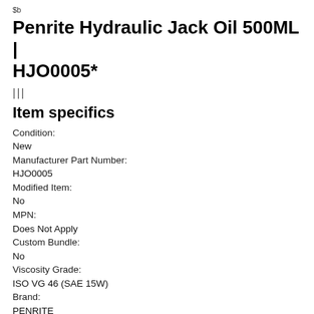$b
Penrite Hydraulic Jack Oil 500ML | HJO0005*
|||
Item specifics
Condition:
New
Manufacturer Part Number:
HJO0005
Modified Item:
No
MPN:
Does Not Apply
Custom Bundle:
No
Viscosity Grade:
ISO VG 46 (SAE 15W)
Brand:
PENRITE
Warranty: